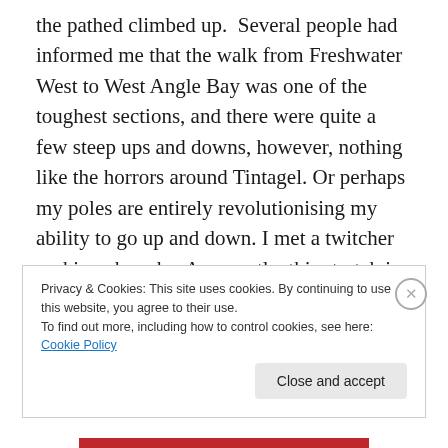the pathed climbed up.  Several people had informed me that the walk from Freshwater West to West Angle Bay was one of the toughest sections, and there were quite a few steep ups and downs, however, nothing like the horrors around Tintagel. Or perhaps my poles are entirely revolutionising my ability to go up and down. I met a twitcher seeking choughs. Apparently, this stretch is well-known for them. So far, I had not seen any, and thought that I might be reduced to touching up the photographs with red, but, about ten minutes later, I did see some.
Privacy & Cookies: This site uses cookies. By continuing to use this website, you agree to their use.
To find out more, including how to control cookies, see here: Cookie Policy